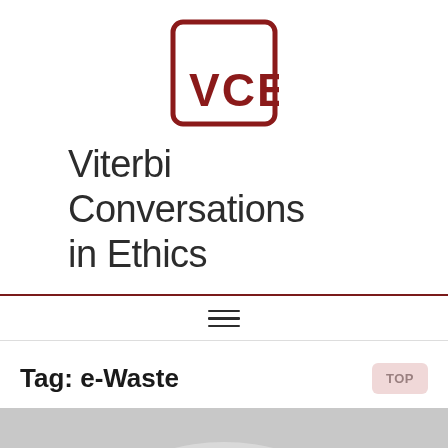[Figure (logo): VCE logo — dark red rounded square border with VCE text inside, V forming a checkmark-like shape at bottom left]
Viterbi Conversations in Ethics
Tag: e-Waste
[Figure (photo): Partial photo of cables/wires, gray tones, cropped at bottom of page]